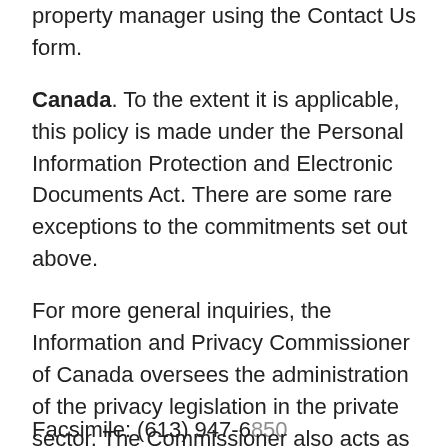property manager using the Contact Us form.
Canada. To the extent it is applicable, this policy is made under the Personal Information Protection and Electronic Documents Act. There are some rare exceptions to the commitments set out above.
For more general inquiries, the Information and Privacy Commissioner of Canada oversees the administration of the privacy legislation in the private sector. The Commissioner also acts as a kind of ombudsman for privacy disputes. The Information and Privacy Commissioner can be reached at:
Address: 112 Kent Street, Ottawa, ON K1A 1H3
Phone: (613) 995-8210
Toll-free: (800) 282-1376
Facsimile: (613) 947-6850